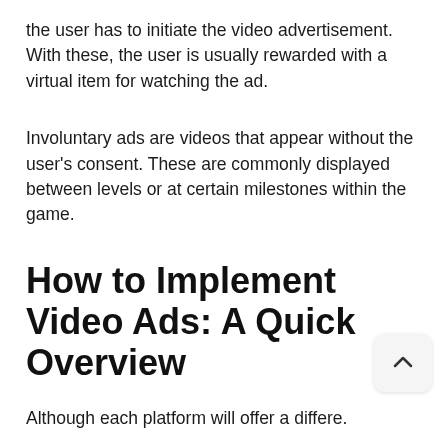the user has to initiate the video advertisement. With these, the user is usually rewarded with a virtual item for watching the ad.
Involuntary ads are videos that appear without the user's consent. These are commonly displayed between levels or at certain milestones within the game.
How to Implement Video Ads: A Quick Overview
Although each platform will offer a differe... API...